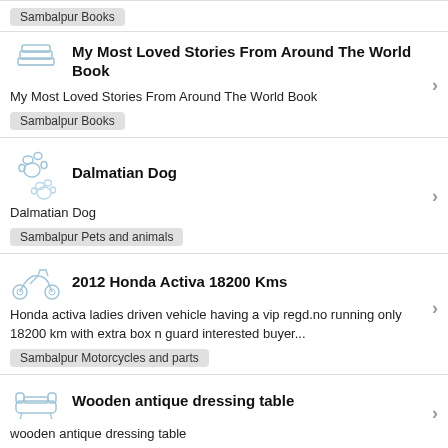Sambalpur Books (tag, top)
My Most Loved Stories From Around The World Book
Dalmatian Dog
2012 Honda Activa 18200 Kms
Wooden antique dressing table